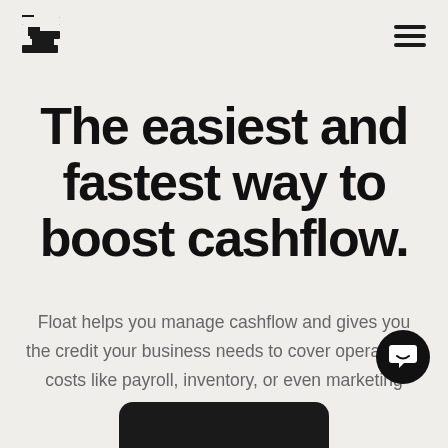[Float logo] [hamburger menu]
The easiest and fastest way to boost cashflow.
Float helps you manage cashflow and gives you the credit your business needs to cover operational costs like payroll, inventory, or even marketing expenses.